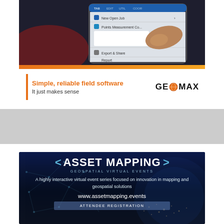[Figure (photo): Person using a tablet/mobile device showing field software interface with menu items, orange accent bar at bottom. GeoMax advertisement.]
Simple, reliable field software
It just makes sense
[Figure (logo): GeoMax logo with globe icon between GE and MAX]
[Figure (illustration): Grey banner/divider area]
[Figure (infographic): Asset Mapping geospatial virtual events advertisement with dark blue background, network connectivity lines, globe. Text: ASSET MAPPING, GEOSPATIAL VIRTUAL EVENTS, A highly interactive virtual event series focused on innovation in mapping and geospatial solutions, www.assetmapping.events, ATTENDEE REGISTRATION]